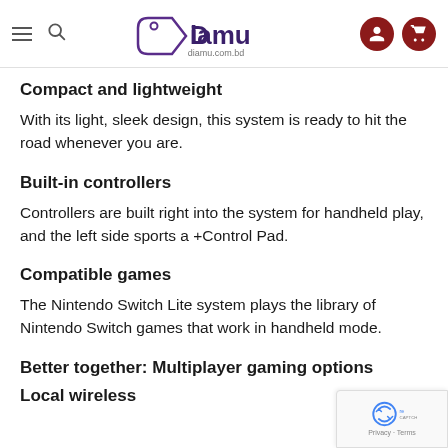Diamu — diamu.com.bd
The Nintendo Switch Lite is designed specifically for handheld play—plug it into your favorite games wherever you have it.
Compact and lightweight
With its light, sleek design, this system is ready to hit the road whenever you are.
Built-in controllers
Controllers are built right into the system for handheld play, and the left side sports a +Control Pad.
Compatible games
The Nintendo Switch Lite system plays the library of Nintendo Switch games that work in handheld mode.
Better together: Multiplayer gaming options
Local wireless